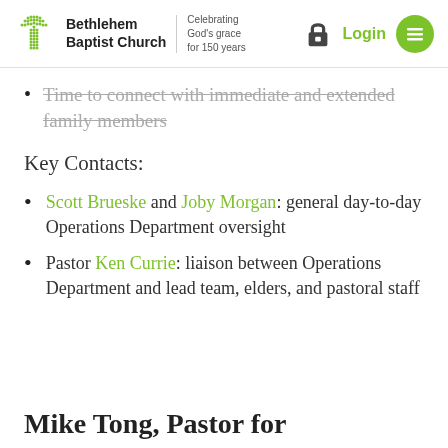Bethlehem Baptist Church — Celebrating God's grace for 150 years | Login
Time to connect with immediate and extended family members
Key Contacts:
Scott Brueske and Joby Morgan: general day-to-day Operations Department oversight
Pastor Ken Currie: liaison between Operations Department and lead team, elders, and pastoral staff
Mike Tong, Pastor for